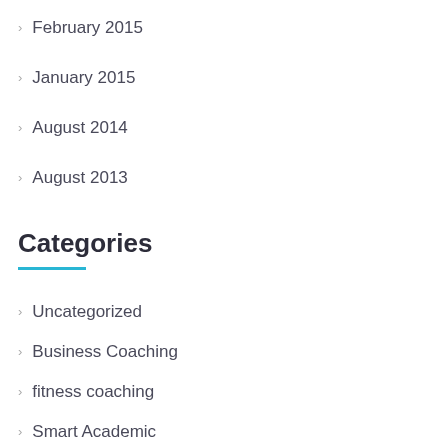February 2015
January 2015
August 2014
August 2013
Categories
Uncategorized
Business Coaching
fitness coaching
Smart Academic
! Без рубрики
Emulators